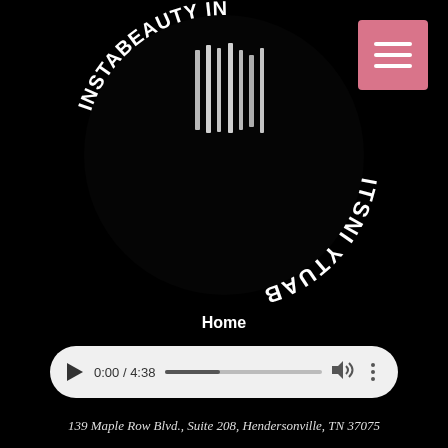[Figure (logo): Circular black and white logo with text curved around the edge, partially visible, showing 'BEAUTY INSTI...' text in stylized white lettering on black background. The image appears flipped/mirrored.]
Home
[Figure (other): HTML5 audio player control showing 0:00 / 4:38 with progress bar, volume and more options buttons]
139 Maple Row Blvd., Suite 208, Hendersonville, TN 37075